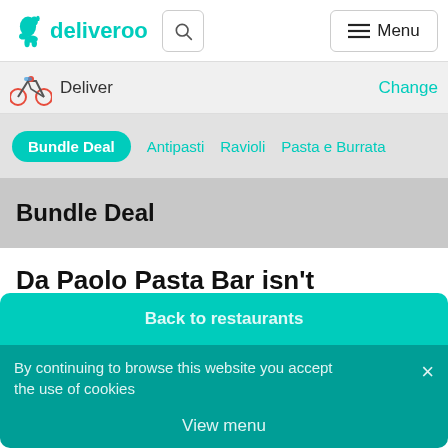deliveroo
Deliver   Change
Bundle Deal  Antipasti  Ravioli  Pasta e Burrata
Bundle Deal
Da Paolo Pasta Bar isn't currently accepting orders
Back to restaurants
By continuing to browse this website you accept the use of cookies
View menu